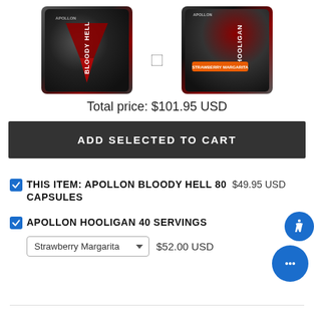[Figure (photo): Two supplement product bottles: Apollon Bloody Hell 80 Capsules (left, dark bottle with red design) and Apollon Hooligan 40 Servings Strawberry Margarita (right, dark bottle with red/orange design)]
Total price: $101.95 USD
ADD SELECTED TO CART
THIS ITEM: APOLLON BLOODY HELL 80 CAPSULES  $49.95 USD
APOLLON HOOLIGAN 40 SERVINGS  Strawberry Margarita  $52.00 USD